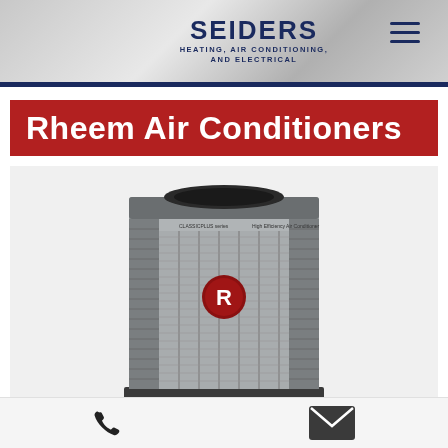SEIDERS HEATING, AIR CONDITIONING, AND ELECTRICAL
Rheem Air Conditioners
[Figure (photo): Rheem ClassicPlus series high efficiency air conditioner outdoor unit, silver/grey metal cabinet with louvered panels and Rheem logo badge in center]
Phone and email contact icons